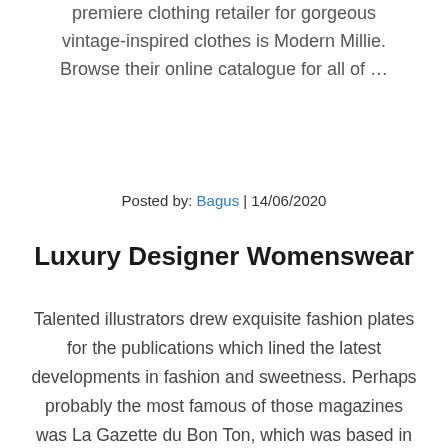premiere clothing retailer for gorgeous vintage-inspired clothes is Modern Millie. Browse their online catalogue for all of …
Posted by: Bagus | 14/06/2020
Luxury Designer Womenswear
Talented illustrators drew exquisite fashion plates for the publications which lined the latest developments in fashion and sweetness. Perhaps probably the most famous of those magazines was La Gazette du Bon Ton, which was based in 1912 by Lucien Vogel and regularly printed till 1925 . Consumption is driven not solely by need, the symbolic which means for shoppers can additionally